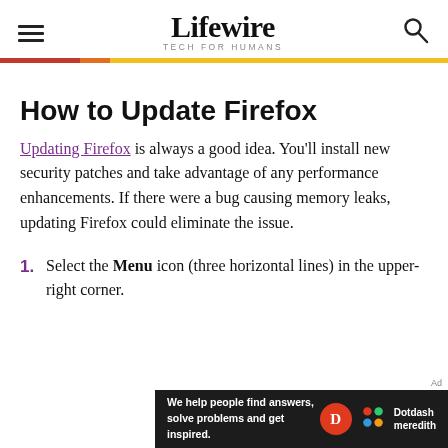Lifewire TECH FOR HUMANS
How to Update Firefox
Updating Firefox is always a good idea. You'll install new security patches and take advantage of any performance enhancements. If there were a bug causing memory leaks, updating Firefox could eliminate the issue.
1. Select the Menu icon (three horizontal lines) in the upper-right corner.
[Figure (other): Dotdash Meredith advertisement banner at the bottom of the page with text 'We help people find answers, solve problems and get inspired.' alongside Dotdash Meredith logos.]